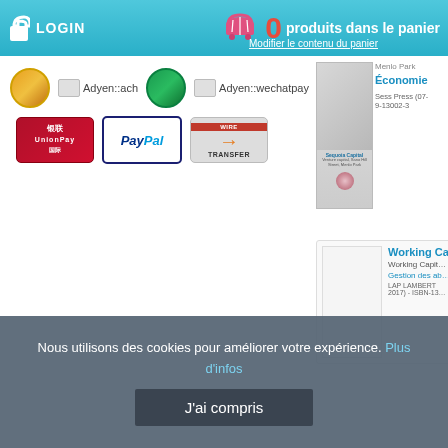LOGIN | 0 produits dans le panier | Modifier le contenu du panier
[Figure (logo): Payment method logos: Adyen::ach, Adyen::wechatpay, UnionPay, PayPal, Wire Transfer]
Menlo Park
Économie
Sess Press (07- 9-13002-3
[Figure (photo): Book cover for Sequoia Capital]
Working Ca...
Working Capit...
Gestion des ab...
LAP LAMBERT 2017) - ISBN-13...
[Figure (photo): Book cover for Working Capital (white/blank cover)]
Nous utilisons des cookies pour améliorer votre expérience. Plus d'infos
J'ai compris